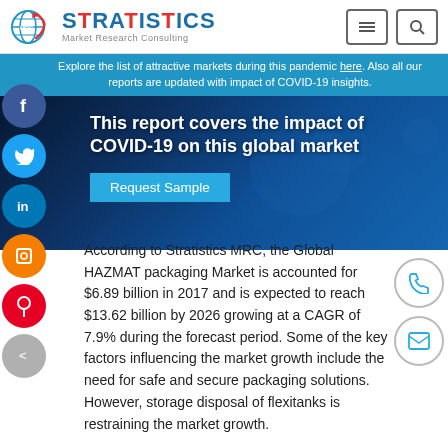Stratistics Market Research Consulting
Explore the list of attractive markets during this pandemic here. Also all our reports are updated with impact of COVID-19 insights.
[Figure (screenshot): Dark blue microscopic COVID-19 virus background image with text overlay: 'This report covers the impact of COVID-19 on this global market' and a 'Request Sample' button]
According to Stratistics MRC, the Global HAZMAT packaging Market is accounted for $6.89 billion in 2017 and is expected to reach $13.62 billion by 2026 growing at a CAGR of 7.9% during the forecast period. Some of the key factors influencing the market growth include the need for safe and secure packaging solutions. However, storage disposal of flexitanks is restraining the market growth.